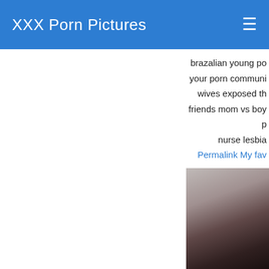XXX Porn Pictures
brazalian young po
your porn communi
wives exposed th
friends mom vs boy p
nurse lesbia
Permalink My fav
(GIF) P Interracia
[Figure (photo): Partial photo visible in lower right area]